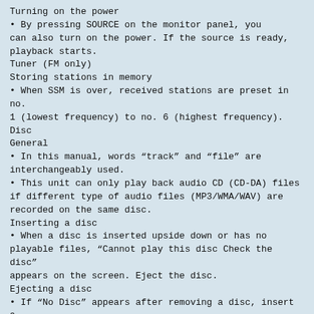Turning on the power
• By pressing SOURCE on the monitor panel, you can also turn on the power. If the source is ready, playback starts.
Tuner (FM only)
Storing stations in memory
• When SSM is over, received stations are preset in no.
1 (lowest frequency) to no. 6 (highest frequency).
Disc
General
• In this manual, words “track” and “file” are interchangeably used.
• This unit can only play back audio CD (CD-DA) files if different type of audio files (MP3/WMA/WAV) are recorded on the same disc.
Inserting a disc
• When a disc is inserted upside down or has no playable files, “Cannot play this disc Check the disc” appears on the screen. Eject the disc.
Ejecting a disc
• If “No Disc” appears after removing a disc, insert a disc or select another playback source.
• If the ejected disc is not removed within 15 seconds, the disc is automatically inserted again into the loading slot to protect it from dust.
Playing Recordable/Rewritable discs
• This unit can recognize a total of 5 000 files and 250
folders (maximum of 5 000 files per folder).